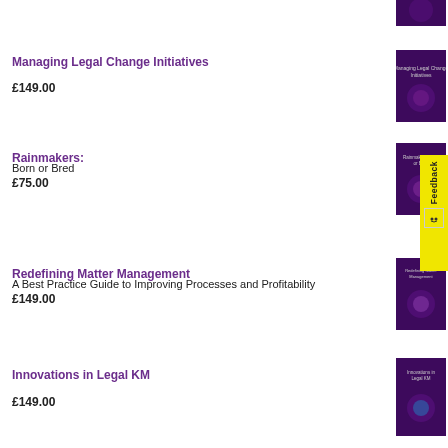[Figure (illustration): Book cover for Managing Legal Change Initiatives, purple background]
Managing Legal Change Initiatives
£149.00
[Figure (illustration): Book cover for Rainmakers: Born or Bred, purple background]
Rainmakers:
Born or Bred
£75.00
[Figure (illustration): Book cover for Redefining Matter Management, purple background]
Redefining Matter Management
A Best Practice Guide to Improving Processes and Profitability
£149.00
[Figure (illustration): Book cover for Innovations in Legal KM, purple background]
Innovations in Legal KM
£149.00